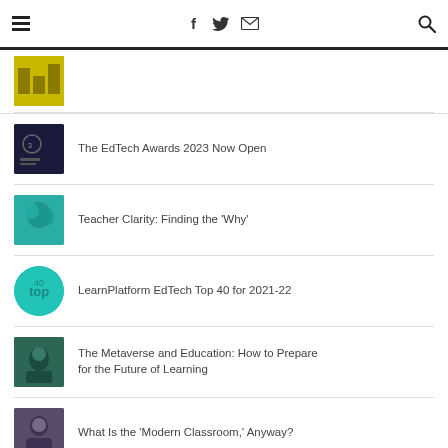Navigation bar with hamburger menu, social icons (f, Twitter, email), and search icon
The EdTech Awards 2023 Now Open
Teacher Clarity: Finding the 'Why'
LearnPlatform EdTech Top 40 for 2021-22
The Metaverse and Education: How to Prepare for the Future of Learning
What Is the 'Modern Classroom,' Anyway?